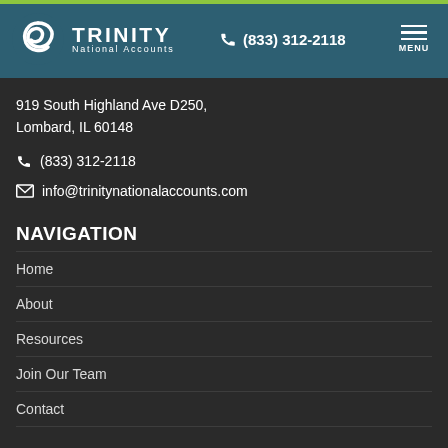Trinity National Accounts | (833) 312-2118 | MENU
919 South Highland Ave D250,
Lombard, IL 60148
(833) 312-2118
info@trinitynationalaccounts.com
NAVIGATION
Home
About
Resources
Join Our Team
Contact
OUR SERVICES